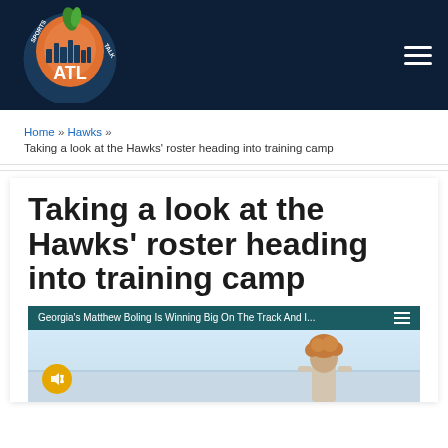[Figure (logo): Sports Talk ATL logo — peach with city skyline and ATL text on dark navy background]
Home » Hawks » Taking a look at the Hawks' roster heading into training camp
Taking a look at the Hawks' roster heading into training camp
[Figure (screenshot): Video embed thumbnail: Georgia's Matthew Boling Is Winning Big On The Track And I... with teal header bar and person in background]